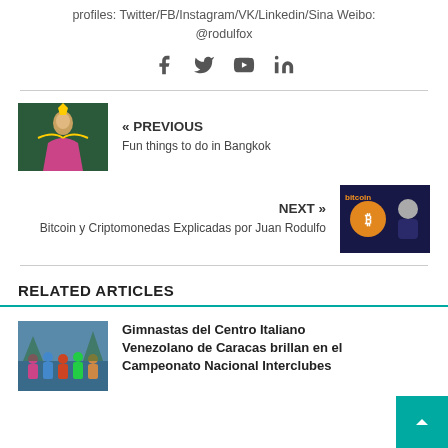profiles: Twitter/FB/Instagram/VK/Linkedin/Sina Weibo: @rodulfox
[Figure (other): Social media icons: Facebook, Twitter, YouTube, LinkedIn]
[Figure (photo): Thai dancer in colorful costume]
« PREVIOUS
Fun things to do in Bangkok
[Figure (photo): Bitcoin cryptocurrency video screenshot]
NEXT »
Bitcoin y Criptomonedas Explicadas por Juan Rodulfo
RELATED ARTICLES
[Figure (photo): Gymnastas del Centro Italiano Venezolano group photo]
Gimnastas del Centro Italiano Venezolano de Caracas brillan en el Campeonato Nacional Interclubes